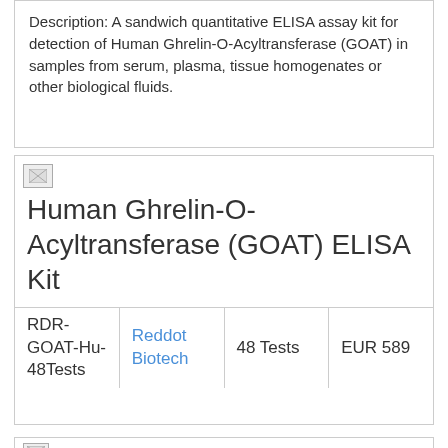Description: A sandwich quantitative ELISA assay kit for detection of Human Ghrelin-O-Acyltransferase (GOAT) in samples from serum, plasma, tissue homogenates or other biological fluids.
Human Ghrelin-O-Acyltransferase (GOAT) ELISA Kit
|  |  |  |  |
| --- | --- | --- | --- |
| RDR-GOAT-Hu-48Tests | Reddot Biotech | 48 Tests | EUR 589 |
Human Ghrelin-O-